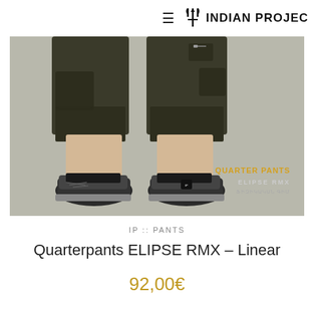≡ INDIAN PROJECT
[Figure (photo): Photo of a person wearing dark olive/khaki quarter-length cargo pants (Quarterpants ELIPSE RMX) with multiple pockets, worn with dark sneakers and black ankle socks. The image has overlay text reading 'QUARTER PANTS ELIPSE RMX' and smaller Armenian/brand text below.]
IP :: PANTS
Quarterpants ELIPSE RMX – Linear
92,00€